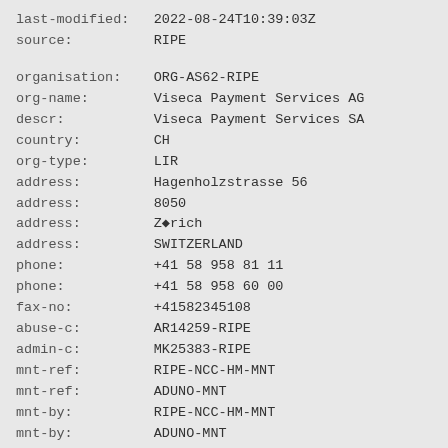last-modified:   2022-08-24T10:39:03Z
source:          RIPE

organisation:    ORG-AS62-RIPE
org-name:        Viseca Payment Services AG
descr:           Viseca Payment Services SA
country:         CH
org-type:        LIR
address:         Hagenholzstrasse 56
address:         8050
address:         Z�rich
address:         SWITZERLAND
phone:           +41 58 958 81 11
phone:           +41 58 958 60 00
fax-no:          +41582345108
abuse-c:         AR14259-RIPE
admin-c:         MK25383-RIPE
mnt-ref:         RIPE-NCC-HM-MNT
mnt-ref:         ADUNO-MNT
mnt-by:          RIPE-NCC-HM-MNT
mnt-by:          ADUNO-MNT
created:         2006-01-19T12:03:07Z